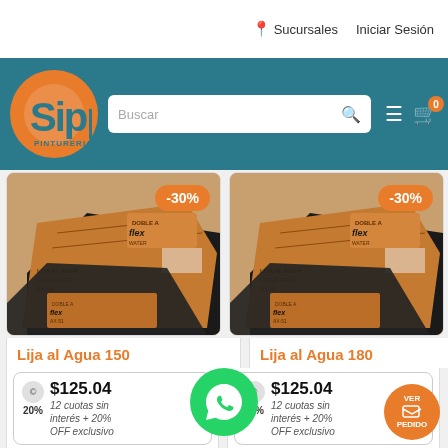Sipp Pinturerías — Sucursales | Iniciar Sesión | Buscar | Cart 0
[Figure (photo): Two sheets of Doble A Flex sandpaper AX-51, wet/dry, shown with -30% discount badge — product: Lija al Agua 150]
Lija al Agua 150
$125.04
12 cuotas sin interés + 20% OFF exclusivo
[Figure (photo): Two sheets of Doble A Flex sandpaper AX-51, wet/dry, shown with -30% discount badge — product: Lija al Agua 180]
Lija al Agua 180
$125.04
12 cuotas sin interés + 20% OFF exclusivo